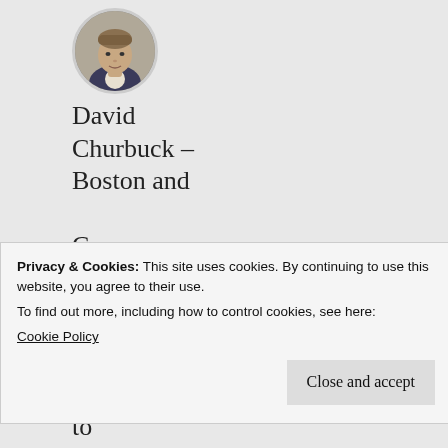[Figure (photo): Circular avatar photo of a man in a suit, cropped to head and shoulders]
David Churbuck – Boston and Cape Cod – A Cape Codd...
David Churbuck on Mosquito Boats: A History of t...
Privacy & Cookies: This site uses cookies. By continuing to use this website, you agree to their use.
To find out more, including how to control cookies, see here:
Cookie Policy
Close and accept
to